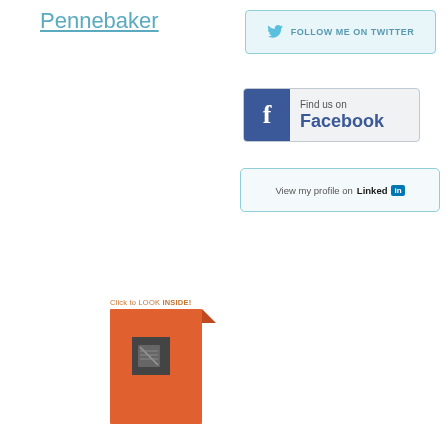Pennebaker
[Figure (other): Follow me on Twitter button with bird icon]
[Figure (other): Find us on Facebook button with Facebook logo]
[Figure (other): View my profile on LinkedIn button]
[Figure (other): Book cover image with orange cover and 'Click to LOOK INSIDE!' label and corner fold tab]